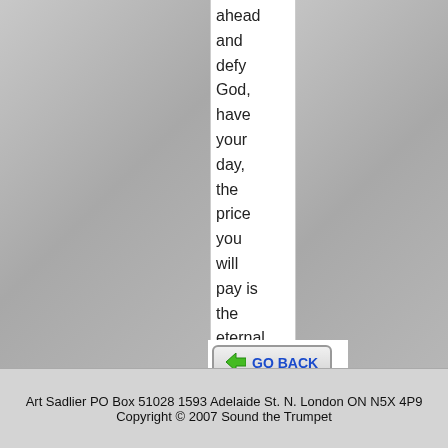ahead and defy God, have your day, the price you will pay is the eternal vengeance of God. Art Sadlier
[Figure (other): Green arrow GO BACK button]
Art Sadlier PO Box 51028 1593 Adelaide St. N. London ON N5X 4P9
Copyright © 2007 Sound the Trumpet